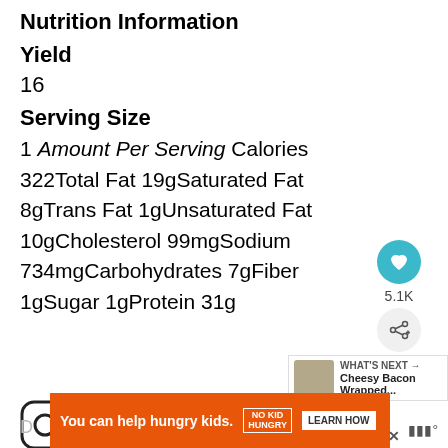Nutrition Information
Yield
16
Serving Size
1 Amount Per Serving Calories 322Total Fat 19gSaturated Fat 8gTrans Fat 1gUnsaturated Fat 10gCholesterol 99mgSodium 734mgCarbohydrates 7gFiber 1gSugar 1gProtein 31g